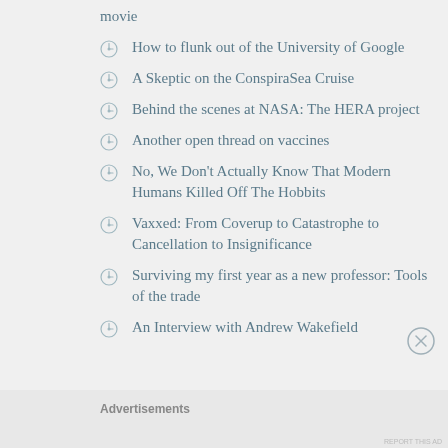movie
How to flunk out of the University of Google
A Skeptic on the ConspiraSea Cruise
Behind the scenes at NASA: The HERA project
Another open thread on vaccines
No, We Don't Actually Know That Modern Humans Killed Off The Hobbits
Vaxxed: From Coverup to Catastrophe to Cancellation to Insignificance
Surviving my first year as a new professor: Tools of the trade
An Interview with Andrew Wakefield
Advertisements